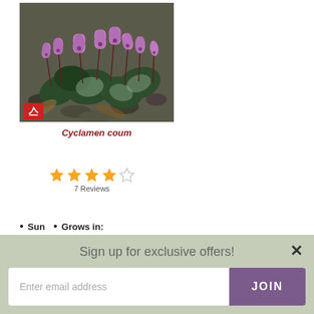[Figure (photo): Cyclamen coum flowers with pink/purple blooms and dark green rounded leaves with silver markings, growing among pebbles. A red brand logo is visible in the bottom-left corner of the image.]
Cyclamen coum
[Figure (other): 4 out of 5 star rating display (4 filled orange stars, 1 empty star) with '7 Reviews' text below]
• Sun  • Grows in:
Sign up for exclusive offers!
Enter email address
JOIN